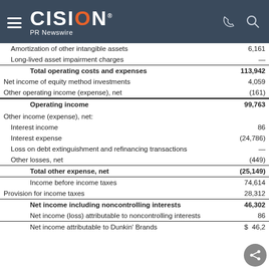CISION PR Newswire
|  |  |
| --- | --- |
| Amortization of other intangible assets | 6,161 |
| Long-lived asset impairment charges | — |
| Total operating costs and expenses | 113,942 |
| Net income of equity method investments | 4,059 |
| Other operating income (expense), net | (161) |
| Operating income | 99,763 |
| Other income (expense), net: |  |
| Interest income | 86 |
| Interest expense | (24,786) |
| Loss on debt extinguishment and refinancing transactions | — |
| Other losses, net | (449) |
| Total other expense, net | (25,149) |
| Income before income taxes | 74,614 |
| Provision for income taxes | 28,312 |
| Net income including noncontrolling interests | 46,302 |
| Net income (loss) attributable to noncontrolling interests | 86 |
| Net income attributable to Dunkin' Brands | $ 46,2... |